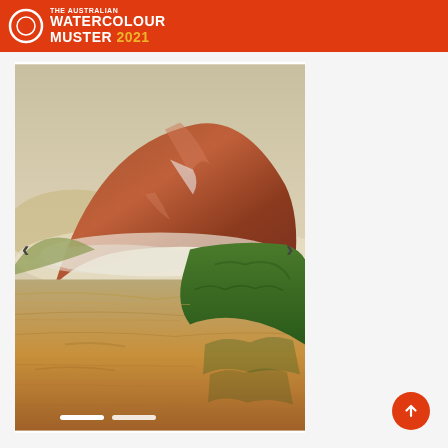THE AUSTRALIAN WATERCOLOUR MUSTER 2021
[Figure (photo): A watercolour painting showing a dramatic reddish-brown mountain peak with misty clouds, reflected in calm water below, with green foliage in the foreground. Navigation arrows on left and right sides. Two white dot indicators at bottom.]